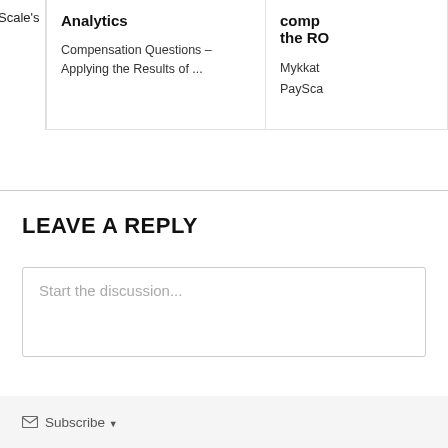Scale's
Analytics
Compensation Questions –
Applying the Results of ...
comp the RO
Mykkat
PaySca
LEAVE A REPLY
Start the discussion...
Subscribe